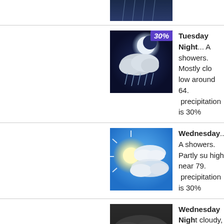[Figure (photo): Partial weather icon at top of page (cropped)]
[Figure (photo): Tuesday Night weather icon: cloudy with rain and 30% precipitation badge]
Tuesday Night... A showers. Mostly clo low around 64. precipitation is 30%
[Figure (photo): Wednesday weather icon: sunny with clouds, partly sunny]
Wednesday... A showers. Partly su high near 79. C precipitation is 30%
[Figure (photo): Wednesday Night weather icon: dark cloudy sky]
Wednesday Nigh cloudy, with a low a
[Figure (photo): Partial weather icon at bottom of page (cropped)]